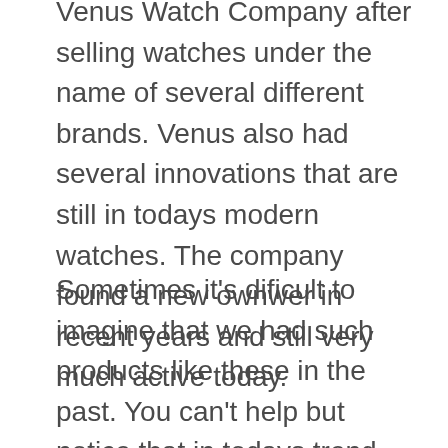Venus Watch Company after selling watches under the name of several different brands. Venus also had several innovations that are still in todays modern watches. The company found a new ownwer in recent years and still very much active today.
Sometimes it's dificult to imagine that we had such products like these in the past. You can't help but notice that in todays trend, bigger is better when in fact bigger isn't always wearable. A true 38mm gem like this Venus chronograph retains it's collectibility throughout the years. This watch might have come out